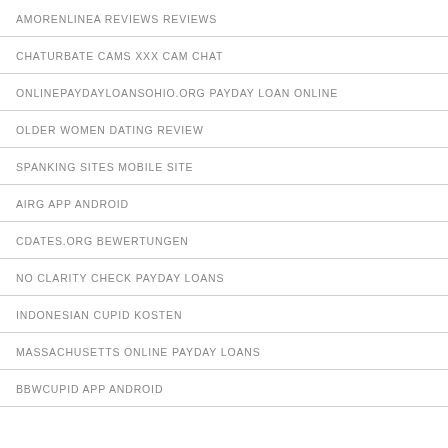AMORENLINEA REVIEWS REVIEWS
CHATURBATE CAMS XXX CAM CHAT
ONLINEPAYDAYLOANSOHIO.ORG PAYDAY LOAN ONLINE
OLDER WOMEN DATING REVIEW
SPANKING SITES MOBILE SITE
AIRG APP ANDROID
CDATES.ORG BEWERTUNGEN
NO CLARITY CHECK PAYDAY LOANS
INDONESIAN CUPID KOSTEN
MASSACHUSETTS ONLINE PAYDAY LOANS
BBWCUPID APP ANDROID